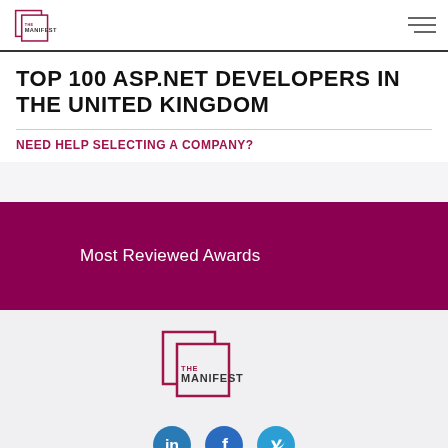THE MANIFEST
TOP 100 ASP.NET DEVELOPERS IN THE UNITED KINGDOM
NEED HELP SELECTING A COMPANY?
[Figure (other): Dark maroon banner with text 'Most Reviewed Awards']
[Figure (logo): The Manifest logo - two overlapping squares with THE MANIFEST text]
[Figure (other): Social media icons: LinkedIn, Facebook, Twitter]
© The Manifest 2022